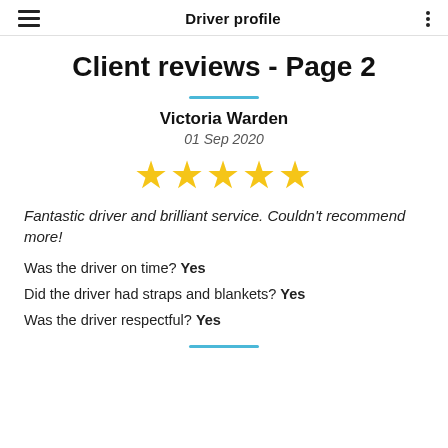Driver profile
Client reviews - Page 2
Victoria Warden
01 Sep 2020
[Figure (other): Five gold stars rating]
Fantastic driver and brilliant service. Couldn't recommend more!
Was the driver on time? Yes
Did the driver had straps and blankets? Yes
Was the driver respectful? Yes